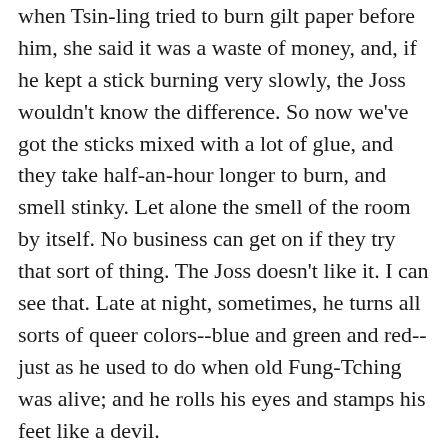when Tsin-ling tried to burn gilt paper before him, she said it was a waste of money, and, if he kept a stick burning very slowly, the Joss wouldn't know the difference. So now we've got the sticks mixed with a lot of glue, and they take half-an-hour longer to burn, and smell stinky. Let alone the smell of the room by itself. No business can get on if they try that sort of thing. The Joss doesn't like it. I can see that. Late at night, sometimes, he turns all sorts of queer colors--blue and green and red--just as he used to do when old Fung-Tching was alive; and he rolls his eyes and stamps his feet like a devil.